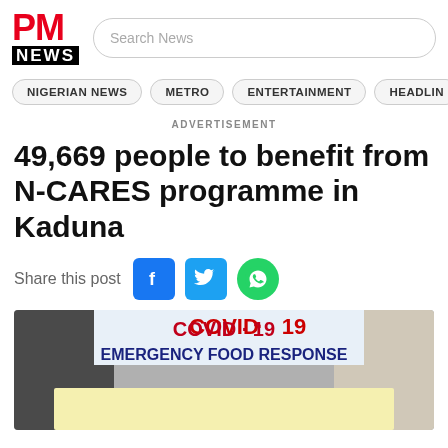PM NEWS
Search News
NIGERIAN NEWS
METRO
ENTERTAINMENT
HEADLIN
ADVERTISEMENT
49,669 people to benefit from N-CARES programme in Kaduna
Share this post
[Figure (photo): COVID-19 Emergency Food Response banner with a yellow overlay block at the bottom]